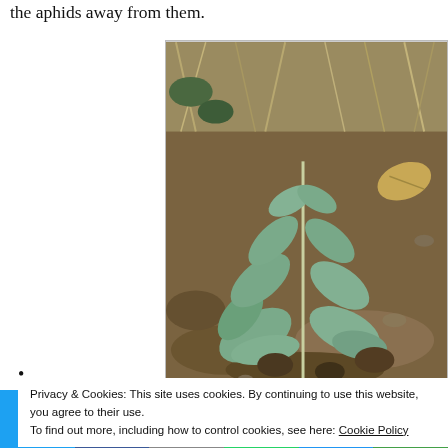the aphids away from them.
[Figure (photo): A young plant with blue-green lobed leaves growing in dry, brown soil with dry grass and a dead leaf visible nearby.]
•
Privacy & Cookies: This site uses cookies. By continuing to use this website, you agree to their use.
To find out more, including how to control cookies, see here: Cookie Policy
Share buttons: Twitter, Facebook, Email, WhatsApp, SMS, More